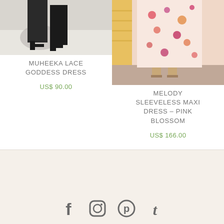[Figure (photo): Product photo of Muheeka Lace Goddess Dress showing model's lower body in black dress with heels on a sidewalk]
MUHEEKA LACE GODDESS DRESS
US$ 90.00
[Figure (photo): Product photo of Melody Sleeveless Maxi Dress in Pink Blossom floral print, showing model's lower body]
MELODY SLEEVELESS MAXI DRESS – PINK BLOSSOM
US$ 166.00
[Figure (infographic): Footer with social media icons: Facebook, Instagram, Pinterest, Tumblr on a cream/beige background]